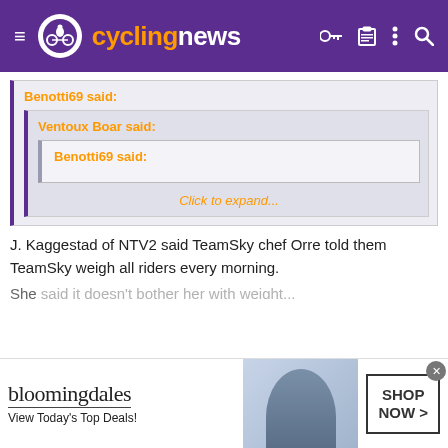cyclingnews
Benotti69 said:
Ventoux Boar said:
Benotti69 said:
Click to expand...
J. Kaggestad of NTV2 said TeamSky chef Orre told them TeamSky weigh all riders every morning.
[Figure (screenshot): Bloomingdales advertisement banner: 'View Today's Top Deals!' with SHOP NOW button]